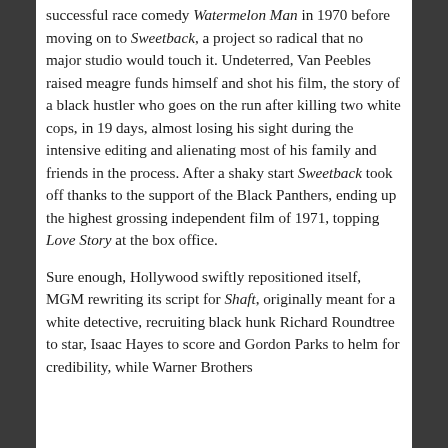successful race comedy Watermelon Man in 1970 before moving on to Sweetback, a project so radical that no major studio would touch it. Undeterred, Van Peebles raised meagre funds himself and shot his film, the story of a black hustler who goes on the run after killing two white cops, in 19 days, almost losing his sight during the intensive editing and alienating most of his family and friends in the process. After a shaky start Sweetback took off thanks to the support of the Black Panthers, ending up the highest grossing independent film of 1971, topping Love Story at the box office.
Sure enough, Hollywood swiftly repositioned itself, MGM rewriting its script for Shaft, originally meant for a white detective, recruiting black hunk Richard Roundtree to star, Isaac Hayes to score and Gordon Parks to helm for credibility, while Warner Brothers